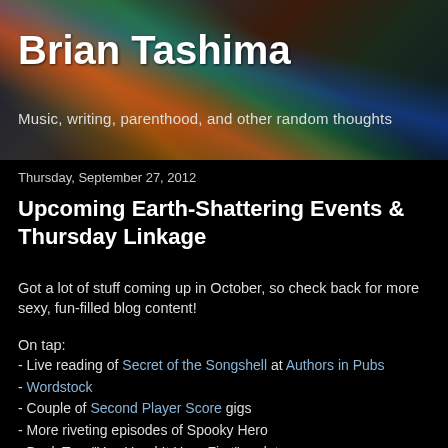[Figure (illustration): Dark header banner with colorful streaks of light (red, green, blue, yellow) on a dark background, serving as the blog header image]
Brian Tashima
Music, writing, parenthood, and other random thoughts
Thursday, September 27, 2012
Upcoming Earth-Shattering Events & Thursday Linkage
Got a lot of stuff coming up in October, so check back for more sexy, fun-filled blog content!
On tap:
- Live reading of Secret of the Songshell at Authors in Pubs
- Wordstock
- Couple of Second Player Score gigs
- More riveting episodes of Spooky Hero
- Book Two "You Head It Here First" updates